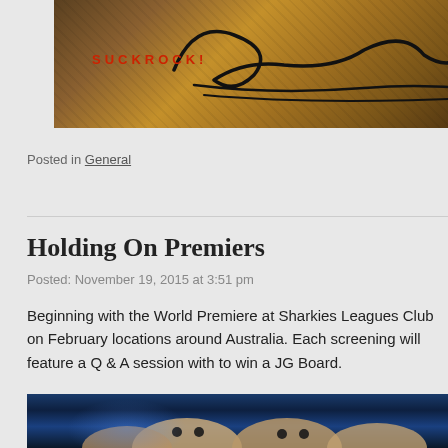[Figure (photo): Vintage/aged background with handwritten signature/autograph in black ink and red text reading 'SUCKROCK!' in distressed style]
Posted in General
Holding On Premiers
Posted: November 19, 2015 at 3:51 pm
Beginning with the World Premiere at Sharkies Leagues Club on February locations around Australia. Each screening will feature a Q & A session with to win a JG Board.
[Figure (photo): Three people looking up at camera with surprised/wide-eyed expressions, blue-toned lighting]